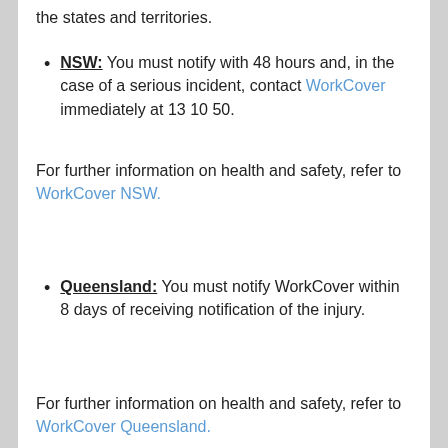the states and territories.
NSW: You must notify with 48 hours and, in the case of a serious incident, contact WorkCover immediately at 13 10 50.
For further information on health and safety, refer to WorkCover NSW.
Queensland: You must notify WorkCover within 8 days of receiving notification of the injury.
For further information on health and safety, refer to WorkCover Queensland.